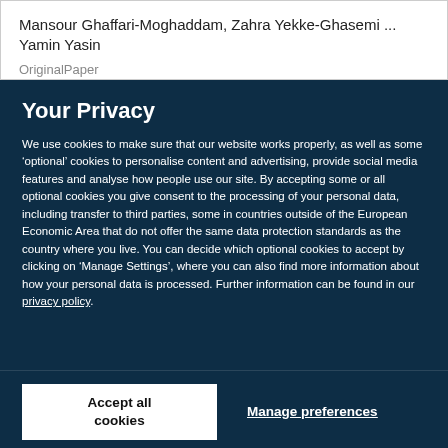Mansour Ghaffari-Moghaddam, Zahra Yekke-Ghasemi ... Yamin Yasin
OriginalPaper
Your Privacy
We use cookies to make sure that our website works properly, as well as some ‘optional’ cookies to personalise content and advertising, provide social media features and analyse how people use our site. By accepting some or all optional cookies you give consent to the processing of your personal data, including transfer to third parties, some in countries outside of the European Economic Area that do not offer the same data protection standards as the country where you live. You can decide which optional cookies to accept by clicking on ‘Manage Settings’, where you can also find more information about how your personal data is processed. Further information can be found in our privacy policy.
Accept all cookies
Manage preferences